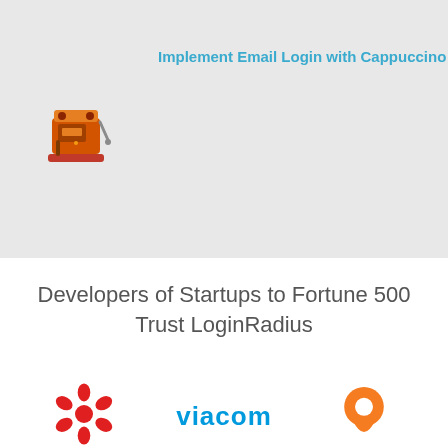Implement Email Login with Cappuccino
[Figure (logo): Orange espresso/cappuccino machine icon]
Developers of Startups to Fortune 500 Trust LoginRadius
[Figure (logo): CBC (Canadian Broadcasting Corporation) red circular gem logo]
[Figure (logo): Viacom logo in blue text]
[Figure (logo): Orange map pin / location marker logo]